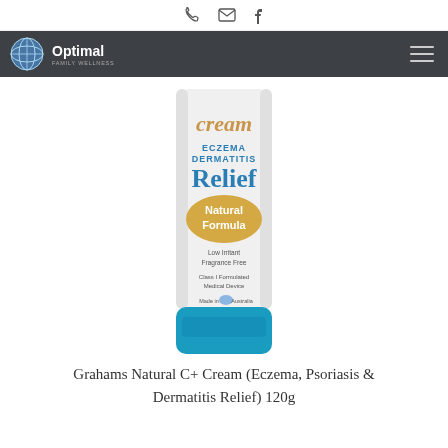phone email facebook icons
[Figure (logo): Optimal Family Wellness logo with globe icon and navigation bar]
[Figure (photo): Grahams Natural C+ Cream tube — Eczema Dermatitis Relief, Natural Formula, Low Irritant, Fragrance Free, Class I Formulated Medical Device, Made in Australia, 50g, with blue cap]
Grahams Natural C+ Cream (Eczema, Psoriasis & Dermatitis Relief) 120g